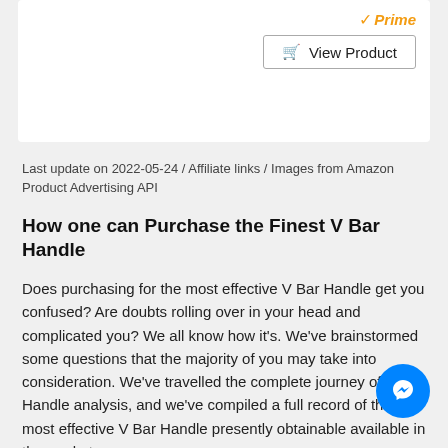[Figure (other): Amazon Prime logo and View Product button in a white card]
Last update on 2022-05-24 / Affiliate links / Images from Amazon Product Advertising API
How one can Purchase the Finest V Bar Handle
Does purchasing for the most effective V Bar Handle get you confused? Are doubts rolling over in your head and complicated you? We all know how it's. We've brainstormed some questions that the majority of you may take into consideration. We've travelled the complete journey of V Bar Handle analysis, and we've compiled a full record of the most effective V Bar Handle presently obtainable available in the market.
Though there could also be extra names than these we're suggesting right here, it will be important so that you